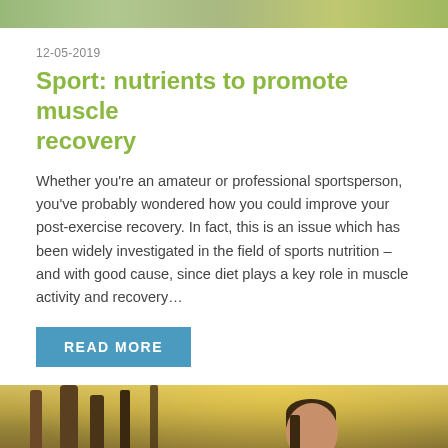[Figure (photo): Cropped top portion of an outdoor nature/sports photo]
12-05-2019
Sport: nutrients to promote muscle recovery
Whether you're an amateur or professional sportsperson, you've probably wondered how you could improve your post-exercise recovery. In fact, this is an issue which has been widely investigated in the field of sports nutrition – and with good cause, since diet plays a key role in muscle activity and recovery…
READ MORE
[Figure (photo): Woman in yellow/green athletic top smiling, running outdoors in a forest setting]